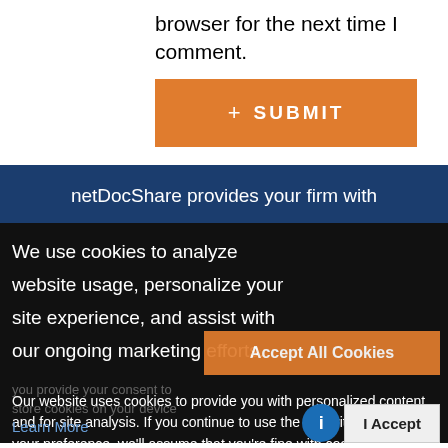browser for the next time I comment.
[Figure (other): Orange submit button with '+ SUBMIT' text]
netDocShare provides your firm with
We use cookies to analyze website usage, personalize your site experience, and assist with our ongoing marketing efforts.
[Figure (other): Orange 'Accept All Cookies' button]
Our website uses cookies to provide you with personalized content and for site analysis. If you continue to use the site without choosing your preference, we'll assume that you're fine with cookies.
you provide your consent to store cookies on your device
Learn More
[Figure (other): Blue circle info button and 'I Accept' button]